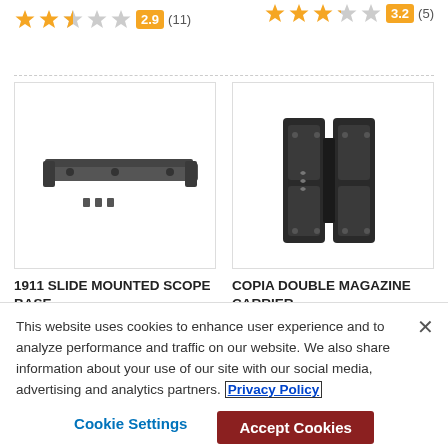[Figure (other): Star rating: 2.9 out of 5 (orange filled stars, partial, grey empty), badge showing 2.9, count (11)]
[Figure (other): Star rating: 3.2 out of 5 (orange filled stars, partial, grey empty), badge showing 3.2, count (5)]
[Figure (photo): 1911 Slide Mounted Scope Base product photo — black metal rail with screws on white background]
1911 SLIDE MOUNTED SCOPE BASE
CLARK CUSTOM
(In Stock)
$39.99
[Figure (photo): Copia Double Magazine Carrier product photo — black polymer double magazine holder on white background]
COPIA DOUBLE MAGAZINE CARRIER
RAVEN CONCEALMENT SYSTEMS
(In Stock)
$74.99
This website uses cookies to enhance user experience and to analyze performance and traffic on our website. We also share information about your use of our site with our social media, advertising and analytics partners. Privacy Policy
Cookie Settings
Accept Cookies